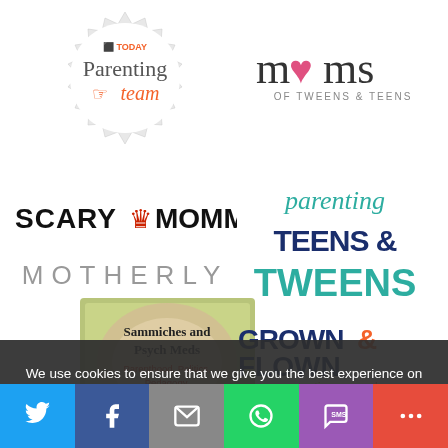[Figure (logo): TODAY Parenting Team logo with orange hand icon inside a circular badge]
[Figure (logo): Moms of Tweens & Teens logo with pink heart replacing 'o' in moms]
[Figure (logo): Scary Mommy logo with red crown icon between words]
[Figure (logo): MOTHERLY logo in grey spaced capitals]
[Figure (logo): Parenting Teens & Tweens logo in teal/green handwritten and block lettering]
[Figure (logo): Sammiches and Psych Meds logo with food background and red text]
[Figure (logo): Grown & Flown logo in navy and orange with tagline parenting never ends]
We use cookies to ensure that we give you the best experience on our website. If you continue to use this site we will assume that you are happy with it.
[Figure (infographic): Social media sharing bar with Twitter, Facebook, Email, WhatsApp, SMS, and more sharing icons]